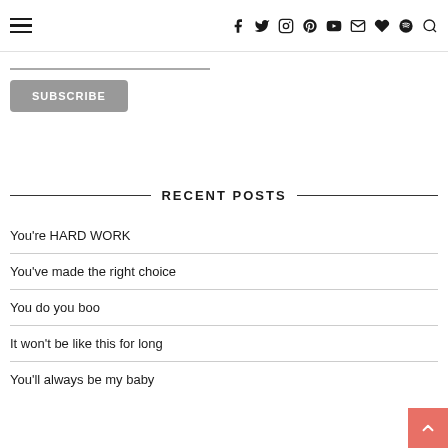≡  f  🐦  ○  ☆  ▶  ✉  ♥  🎵  🔍
[Figure (other): Subscribe input bar and SUBSCRIBE button]
RECENT POSTS
You're HARD WORK
You've made the right choice
You do you boo
It won't be like this for long
You'll always be my baby